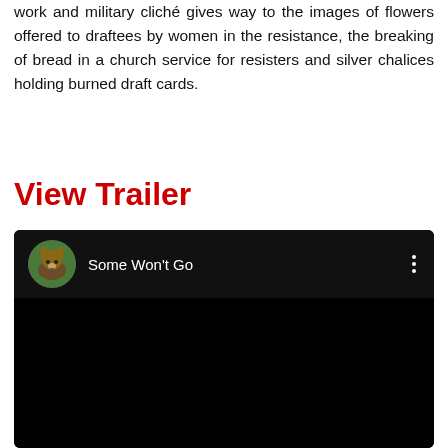work and military cliché gives way to the images of flowers offered to draftees by women in the resistance, the breaking of bread in a church service for resisters and silver chalices holding burned draft cards.
View Trailer
[Figure (screenshot): YouTube-style video player thumbnail showing a dark/black video frame with a channel header displaying a cow avatar icon, channel name 'Some Won't Go', and a three-dot menu icon on a dark background.]